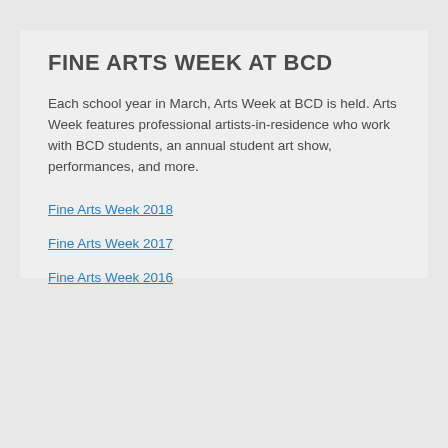FINE ARTS WEEK AT BCD
Each school year in March, Arts Week at BCD is held. Arts Week features professional artists-in-residence who work with BCD students, an annual student art show, performances, and more.
Fine Arts Week 2018
Fine Arts Week 2017
Fine Arts Week 2016